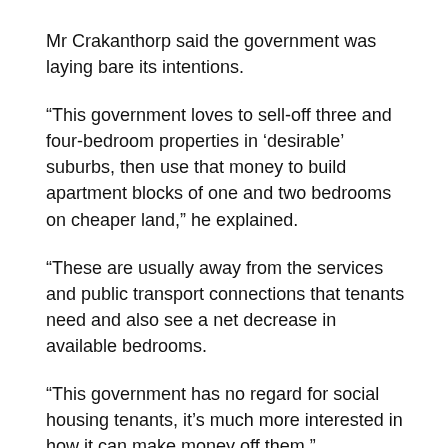Mr Crakanthorp said the government was laying bare its intentions.
“This government loves to sell-off three and four-bedroom properties in ‘desirable’ suburbs, then use that money to build apartment blocks of one and two bedrooms on cheaper land,” he explained.
“These are usually away from the services and public transport connections that tenants need and also see a net decrease in available bedrooms.
“This government has no regard for social housing tenants, it’s much more interested in how it can make money off them.”
Mr Crakanthorp is pleased, however, considerable cash will be invested in maintaining the assets of the lettings in Edmonton.